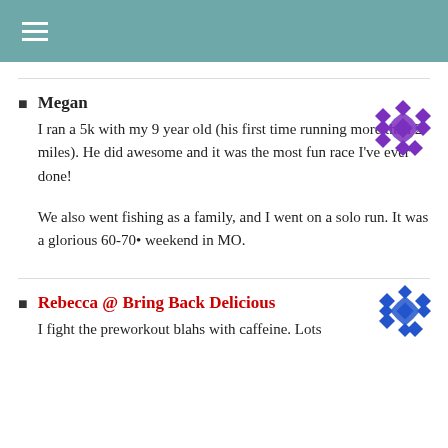≡ (hamburger menu)
Megan
I ran a 5k with my 9 year old (his first time running more than 2 miles). He did awesome and it was the most fun race I've ever done!

We also went fishing as a family, and I went on a solo run. It was a glorious 60-70• weekend in MO.
Rebecca @ Bring Back Delicious
I fight the preworkout blahs with caffeine. Lots